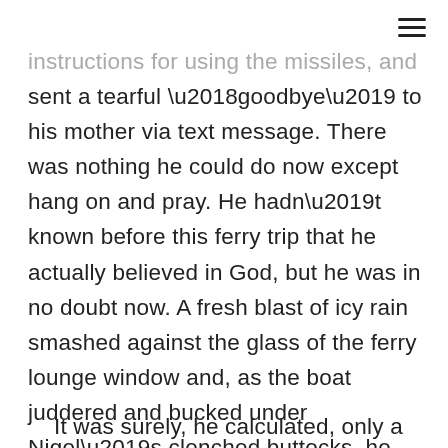instructions for using the missiles, and sent a tearful ‘goodbye’ to his mother via text message. There was nothing he could do now except hang on and pray. He hadn’t known before this ferry trip that he actually believed in God, but he was in no doubt now. A fresh blast of icy rain smashed against the glass of the ferry lounge window and, as the boat juddered and bucked under Nigel’s clenched buttocks, he squealed for the hundredth time.
It was surely, he calculated, only a